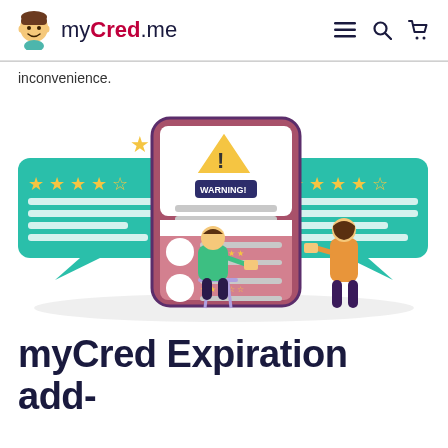myCred.me
inconvenience.
[Figure (illustration): Illustration showing a large smartphone with a WARNING! alert dialog, two speech bubbles with star ratings on either side, a person sitting at a stool using a phone on the left, and a woman standing using a phone on the right. Background has a light gray ellipse shadow.]
myCred Expiration add-